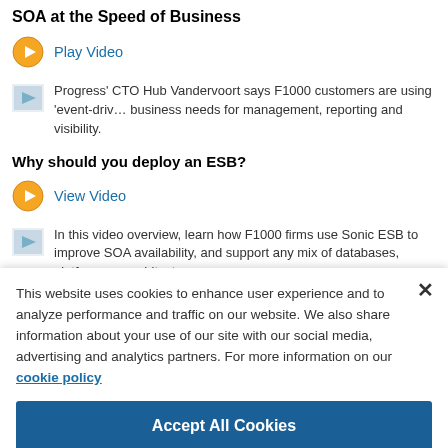SOA at the Speed of Business
Play Video
Progress' CTO Hub Vandervoort says F1000 customers are using 'event-driven' business needs for management, reporting and visibility.
Why should you deploy an ESB?
View Video
In this video overview, learn how F1000 firms use Sonic ESB to improve SOA availability, and support any mix of databases, platforms or architectures.
Progress Sonic ESB and the SOA Portfolio
This website uses cookies to enhance user experience and to analyze performance and traffic on our website. We also share information about your use of our site with our social media, advertising and analytics partners. For more information on our cookie policy
Accept All Cookies
Cookies Settings